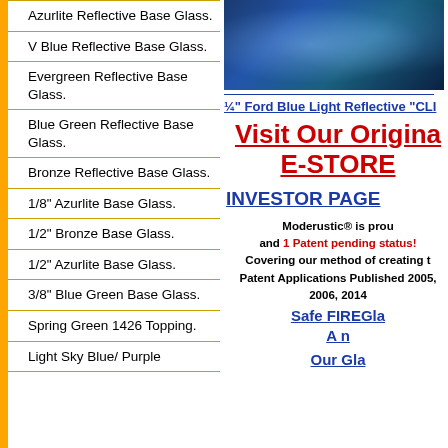Azurlite Reflective Base Glass.
V Blue Reflective Base Glass.
Evergreen Reflective Base Glass.
Blue Green Reflective Base Glass.
Bronze Reflective Base Glass.
1/8" Azurlite Base Glass.
1/2" Bronze Base Glass.
1/2" Azurlite Base Glass.
3/8" Blue Green Base Glass.
Spring Green 1426 Topping.
Light Sky Blue/ Purple
[Figure (photo): Photo of reflective glass pieces with blue tones]
¼" Ford Blue Light Reflective "CLI...
Visit Our Original E-STORE
INVESTOR PAGE
Moderustic® is proud... and 1 Patent pending status! Covering our method of creating t... Patent Applications Published 2005, 2006, 2014... Safe FIREGlas... A n...
Our Gla...